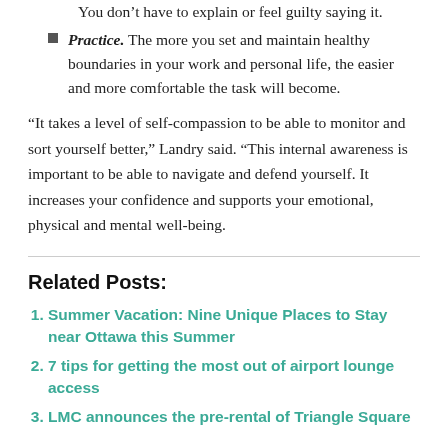You don’t have to explain or feel guilty saying it.
Practice. The more you set and maintain healthy boundaries in your work and personal life, the easier and more comfortable the task will become.
“It takes a level of self-compassion to be able to monitor and sort yourself better,” Landry said. “This internal awareness is important to be able to navigate and defend yourself. It increases your confidence and supports your emotional, physical and mental well-being.
Related Posts:
Summer Vacation: Nine Unique Places to Stay near Ottawa this Summer
7 tips for getting the most out of airport lounge access
LMC announces the pre-rental of Triangle Square